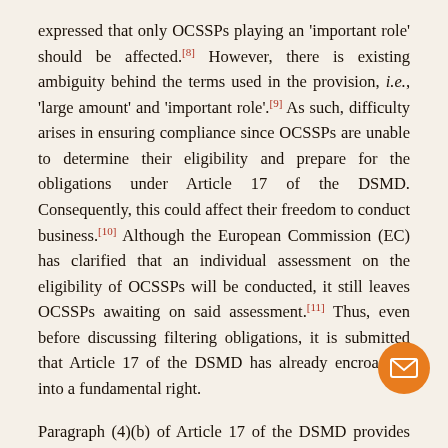expressed that only OCSSPs playing an 'important role' should be affected.[8] However, there is existing ambiguity behind the terms used in the provision, i.e., 'large amount' and 'important role'.[9] As such, difficulty arises in ensuring compliance since OCSSPs are unable to determine their eligibility and prepare for the obligations under Article 17 of the DSMD. Consequently, this could affect their freedom to conduct business.[10] Although the European Commission (EC) has clarified that an individual assessment on the eligibility of OCSSPs will be conducted, it still leaves OCSSPs awaiting on said assessment.[11] Thus, even before discussing filtering obligations, it is submitted that Article 17 of the DSMD has already encroached into a fundamental right.
Paragraph (4)(b) of Article 17 of the DSMD provides that once authorisation is unattainable despite best efforts, an OCSSP may take best effort to ensure the unavailability of infringing works in accordance with